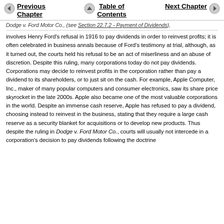Previous Chapter | Table of Contents | Next Chapter
Dodge v. Ford Motor Co., (see Section 22.7.2 - Payment of Dividends), involves Henry Ford's refusal in 1916 to pay dividends in order to reinvest profits; it is often celebrated in business annals because of Ford's testimony at trial, although, as it turned out, the courts held his refusal to be an act of miserliness and an abuse of discretion. Despite this ruling, many corporations today do not pay dividends. Corporations may decide to reinvest profits in the corporation rather than pay a dividend to its shareholders, or to just sit on the cash. For example, Apple Computer, Inc., maker of many popular computers and consumer electronics, saw its share price skyrocket in the late 2000s. Apple also became one of the most valuable corporations in the world. Despite an immense cash reserve, Apple has refused to pay a dividend, choosing instead to reinvest in the business, stating that they require a large cash reserve as a security blanket for acquisitions or to develop new products. Thus despite the ruling in Dodge v. Ford Motor Co., courts will usually not intercede in a corporation's decision to pay dividends following the doctrine...